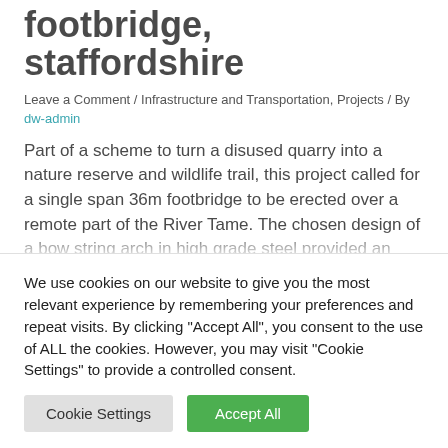footbridge, staffordshire
Leave a Comment / Infrastructure and Transportation, Projects / By dw-admin
Part of a scheme to turn a disused quarry into a nature reserve and wildlife trail, this project called for a single span 36m footbridge to be erected over a remote part of the River Tame. The chosen design of a bow string arch in high grade steel provided an elegant “minimum
We use cookies on our website to give you the most relevant experience by remembering your preferences and repeat visits. By clicking “Accept All”, you consent to the use of ALL the cookies. However, you may visit "Cookie Settings" to provide a controlled consent.